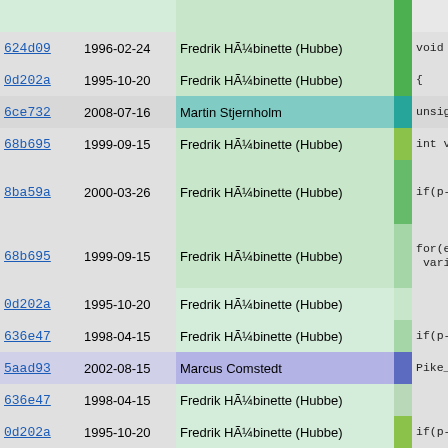| hash | date | author | heat | code |
| --- | --- | --- | --- | --- |
| 624d09 | 1996-02-24 | Fredrik HÃ¼binette (Hubbe) |  | void check |
| 0d202a | 1995-10-20 | Fredrik HÃ¼binette (Hubbe) |  | { |
| 6ce732 | 2008-07-16 | Martin Stjernholm |  | unsigned |
| 68b695 | 1999-09-15 | Fredrik HÃ¼binette (Hubbe) |  | int vari |
| 8ba59a | 2000-03-26 | Fredrik HÃ¼binette (Hubbe) |  | if(p->fl |
| 68b695 | 1999-09-15 | Fredrik HÃ¼binette (Hubbe) |  | for(e=0; variab |
| 0d202a | 1995-10-20 | Fredrik HÃ¼binette (Hubbe) |  |  |
| 636e47 | 1998-04-15 | Fredrik HÃ¼binette (Hubbe) |  | if(p->id |
| 5aad93 | 2002-08-15 | Marcus Comstedt |  | Pike_f |
| 636e47 | 1998-04-15 | Fredrik HÃ¼binette (Hubbe) |  |  |
| 0d202a | 1995-10-20 | Fredrik HÃ¼binette (Hubbe) |  | if(p->re |
| 5aad93 | 2002-08-15 | Marcus Comstedt |  | Pike_f |
| 0d202a | 1995-10-20 | Fredrik HÃ¼binette (Hubbe) |  | if(p->ne |
| 5aad93 | 2002-08-15 | Marcus Comstedt |  | Pike_f |
| 0d202a | 1995-10-20 | Fredrik HÃ¼binette (Hubbe) |  | if(p->on |